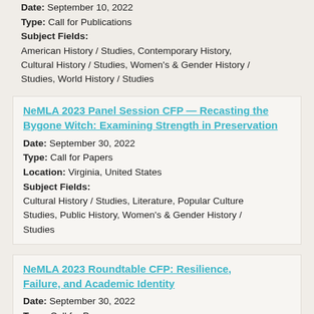Date: September 10, 2022
Type: Call for Publications
Subject Fields:
American History / Studies, Contemporary History, Cultural History / Studies, Women's & Gender History / Studies, World History / Studies
NeMLA 2023 Panel Session CFP — Recasting the Bygone Witch: Examining Strength in Preservation
Date: September 30, 2022
Type: Call for Papers
Location: Virginia, United States
Subject Fields:
Cultural History / Studies, Literature, Popular Culture Studies, Public History, Women's & Gender History / Studies
NeMLA 2023 Roundtable CFP: Resilience, Failure, and Academic Identity
Date: September 30, 2022
Type: Call for Papers
Location: New York, United States